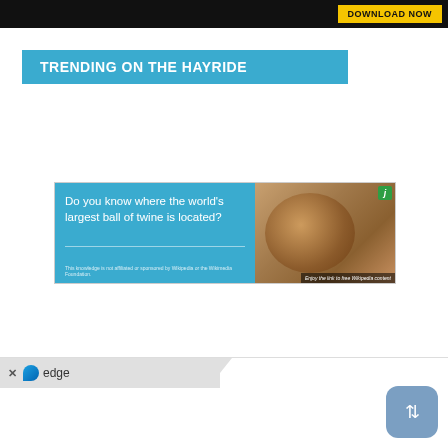DOWNLOAD NOW
TRENDING ON THE HAYRIDE
[Figure (infographic): Ad banner: 'Do you know where the world's largest ball of twine is located?' on blue background with image of large hay bale on right side. Wikipedia content link ad.]
[Figure (screenshot): Microsoft Edge browser bar at bottom with scroll icon]